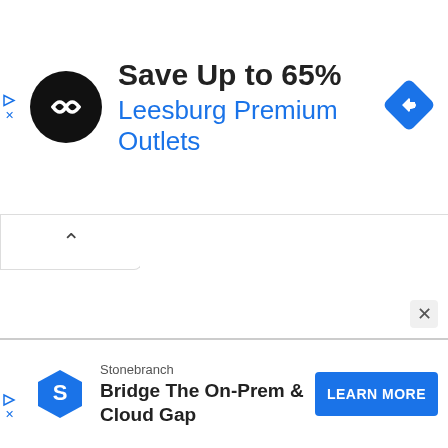[Figure (infographic): Top advertisement banner: black circle logo with double arrow symbol, text 'Save Up to 65%' and 'Leesburg Premium Outlets' in blue, blue diamond navigation icon on right, ad controls (play and X) on left edge]
[Figure (infographic): Collapsed chevron/up-arrow panel below the top ad banner]
[Figure (infographic): Bottom advertisement banner: Stonebranch ad with blue hexagon S logo, text 'Bridge The On-Prem & Cloud Gap', and blue 'LEARN MORE' button]